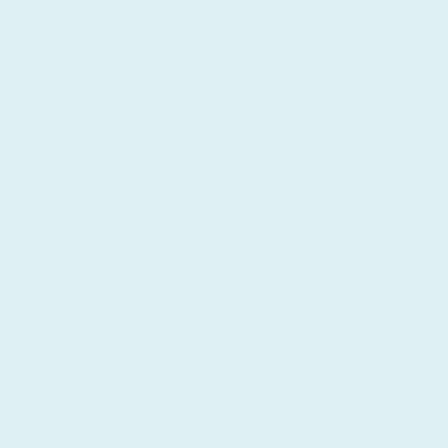Or the Punisher.
lejwocky
January 30, 2014 at
Or Rorschach.
Sageress
January 30, 201
Punschatman
Aizat
January 30,
A former c wearing R weapons a and a bat?
Sager
January
all of th